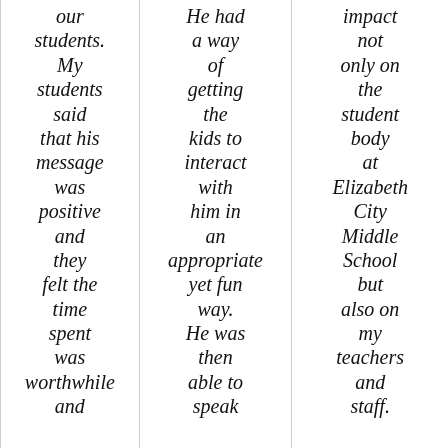our students. My students said that his message was positive and they felt the time spent was worthwhile and
He had a way of getting the kids to interact with him in an appropriate yet fun way. He was then able to speak
impact not only on the student body at Elizabeth City Middle School but also on my teachers and staff.